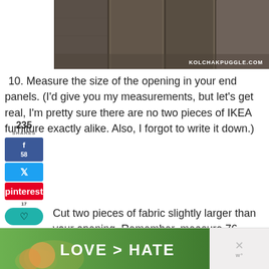[Figure (photo): Photo of wooden furniture panels/slats in dark gray/brown tones with KOLCHAKPUGGLE.COM watermark]
10. Measure the size of the opening in your end panels. (I'd give you my measurements, but let's get real, I'm pretty sure there are no two pieces of IKEA furniture exactly alike. Also, I forgot to write it down.)
11. Cut two pieces of fabric slightly larger than your opening. Remember, measure 76 times, cut once. If you're using contact
[Figure (infographic): Bottom advertisement banner: LOVE > HATE text on green background with close buttons and logo area]